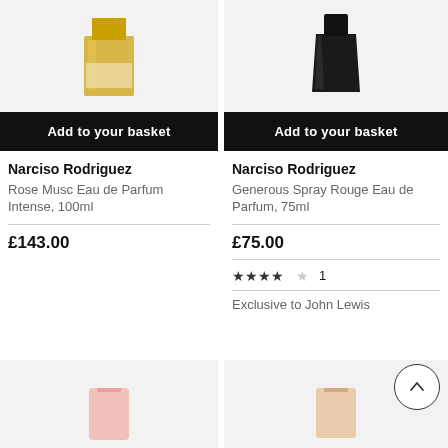[Figure (photo): Narciso Rodriguez Rose Musc Eau de Parfum Intense product bottle with gold cap on light grey background]
[Figure (photo): Narciso Rodriguez Generous Spray Rouge Eau de Parfum product in dark/black bottle on light grey background]
Add to your basket
Add to your basket
Narciso Rodriguez
Rose Musc Eau de Parfum Intense, 100ml
£143.00
Narciso Rodriguez
Generous Spray Rouge Eau de Parfum, 75ml
£75.00
★★★★☆ 1
Exclusive to John Lewis
[Figure (photo): Product image partially visible at bottom left, pink bottle on light grey background]
[Figure (photo): Product image partially visible at bottom right, peach/nude bottle on light grey background]